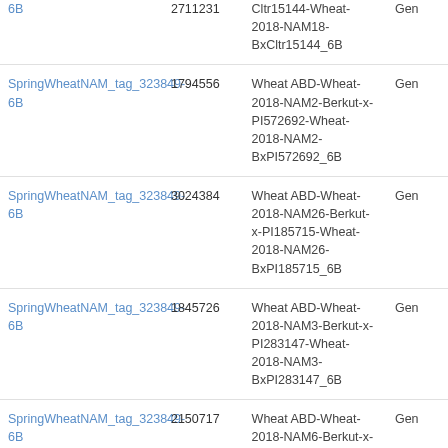|  |  |  |  |
| --- | --- | --- | --- |
| 6B | 2711231 | Cltr15144-Wheat-2018-NAM18-BxCltr15144_6B | Gen |
| SpringWheatNAM_tag_323849-6B | 1794556 | Wheat ABD-Wheat-2018-NAM2-Berkut-x-PI572692-Wheat-2018-NAM2-BxPI572692_6B | Gen |
| SpringWheatNAM_tag_323849-6B | 3024384 | Wheat ABD-Wheat-2018-NAM26-Berkut-x-PI185715-Wheat-2018-NAM26-BxPI185715_6B | Gen |
| SpringWheatNAM_tag_323849-6B | 1845726 | Wheat ABD-Wheat-2018-NAM3-Berkut-x-PI283147-Wheat-2018-NAM3-BxPI283147_6B | Gen |
| SpringWheatNAM_tag_323849-6B | 2150717 | Wheat ABD-Wheat-2018-NAM6-Berkut-x-PI470817-Wheat-2018-NAM6-BxPI470817_6B | Gen |